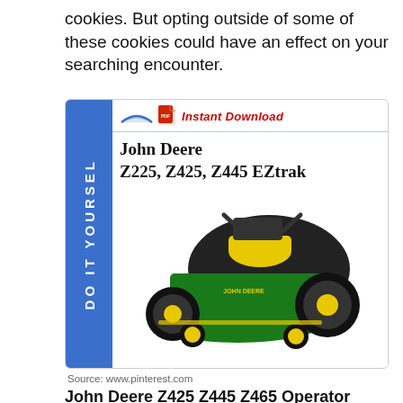cookies. But opting outside of some of these cookies could have an effect on your searching encounter.
[Figure (screenshot): Screenshot of a product listing card for a John Deere Z225, Z425, Z445 EZtrak operator manual download, featuring a blue sidebar with 'DO IT YOURSELF' text, an 'Instant Download' header with PDF icon, the product title, and a photo of a John Deere zero-turn mower.]
Source: www.pinterest.com
John Deere Z425 Z445 Z465 Operator Manual Download